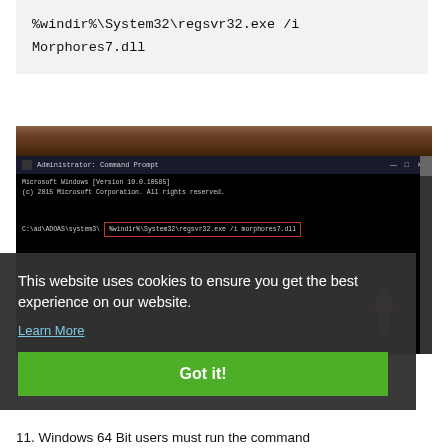%windir%\System32\regsvr32.exe /i Morphores7.dll
[Figure (screenshot): Administrator Command Prompt window showing the command: %windir%\System32\regsvr32.exe /i morphores7.dll entered in the command line, with a red arrow pointing to the command input line. Background shows a nature scene at the top.]
This website uses cookies to ensure you get the best experience on our website. Learn More
Got it!
11. Windows 64 Bit users must run the command